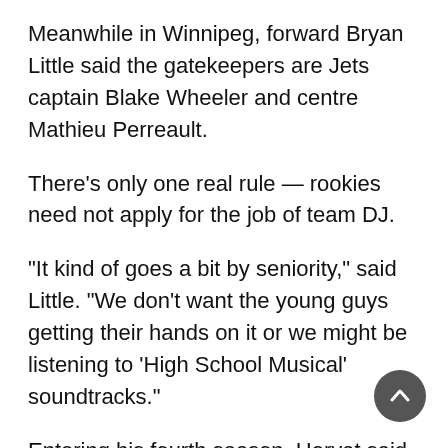Meanwhile in Winnipeg, forward Bryan Little said the gatekeepers are Jets captain Blake Wheeler and centre Mathieu Perreault.
There's only one real rule — rookies need not apply for the job of team DJ.
“It kind of goes a bit by seniority,” said Little. "We don’t want the young guys getting their hands on it or we might be listening to ‘High School Musical’ soundtracks."
Entering his fourth season, Horvat said he knows that music remains a veteran’s domain.
“Do not touch the music,” said Horvat, 22, who led the Canucks in scoring last season. "I’m four years in and still don’t touch the music."